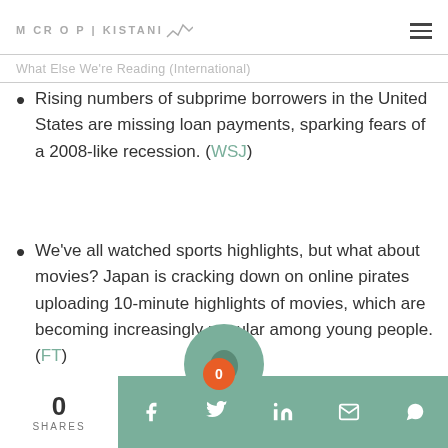MICRO PAKISTANI
What Else We're Reading (International)
Rising numbers of subprime borrowers in the United States are missing loan payments, sparking fears of a 2008-like recession. (WSJ)
We've all watched sports highlights, but what about movies? Japan is cracking down on online pirates uploading 10-minute highlights of movies, which are becoming increasingly popular among young people. (FT)
0 SHARES | social share bar